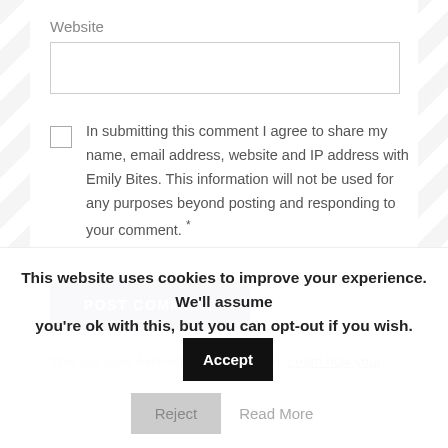Website
[Figure (screenshot): Text input field for Website URL]
In submitting this comment I agree to share my name, email address, website and IP address with Emily Bites. This information will not be used for any purposes beyond posting and responding to your comment. *
[Figure (screenshot): POST COMMENT button (dark blue/navy, rounded corners)]
This site uses Akismet to reduce spam. Learn how your
This website uses cookies to improve your experience. We'll assume you're ok with this, but you can opt-out if you wish.
[Figure (screenshot): Cookie consent buttons: Accept (black), Reject (gray), Read More (gray text)]